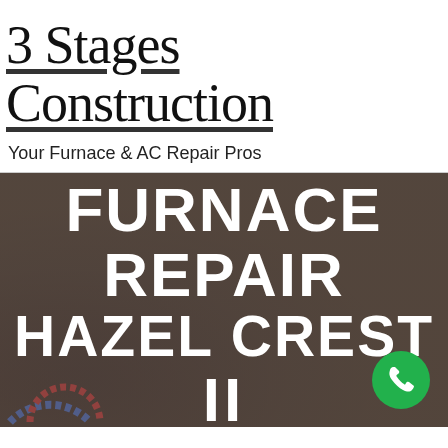3 Stages Construction
Your Furnace & AC Repair Pros
[Figure (photo): Hero banner with dark brownish overlay showing 'FURNACE REPAIR HAZEL CREST II' in large bold white uppercase text, with a green phone button in the bottom right corner and partial gauge graphics in the bottom left.]